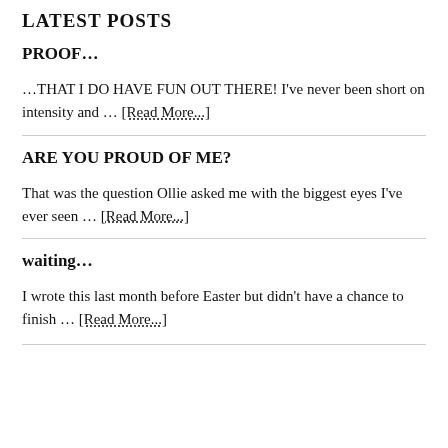LATEST POSTS
PROOF...
…THAT I DO HAVE FUN OUT THERE! I've never been short on intensity and … [Read More...]
ARE YOU PROUD OF ME?
That was the question Ollie asked me with the biggest eyes I've ever seen … [Read More...]
waiting...
I wrote this last month before Easter but didn't have a chance to finish … [Read More...]